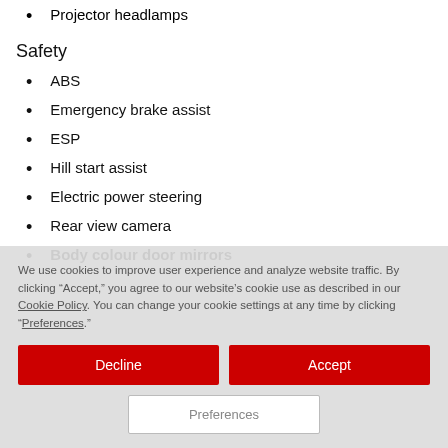Projector headlamps
Safety
ABS
Emergency brake assist
ESP
Hill start assist
Electric power steering
Rear view camera
Body colour door mirrors
We use cookies to improve user experience and analyze website traffic. By clicking “Accept,” you agree to our website’s cookie use as described in our Cookie Policy. You can change your cookie settings at any time by clicking “Preferences.”